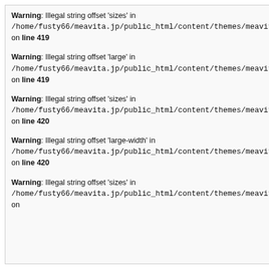Warning: Illegal string offset 'sizes' in /home/fusty66/meavita.jp/public_html/content/themes/meavita/index.php on line 419
Warning: Illegal string offset 'sizes' in /home/fusty66/meavita.jp/public_html/content/themes/meavita/index.php on line 419
Warning: Illegal string offset 'large' in /home/fusty66/meavita.jp/public_html/content/themes/meavita/index.php on line 419
Warning: Illegal string offset 'large' in /home/fusty66/meavita.jp/public_html/content/themes/meavita/index.php on line 419
Warning: Illegal string offset 'sizes' in /home/fusty66/meavita.jp/public_html/content/themes/meavita/index.php on line 420
Warning: Illegal string offset 'sizes' in /home/fusty66/meavita.jp/public_html/content/themes/meavita/index.php on line 420
Warning: Illegal string offset 'large-width' in /home/fusty66/meavita.jp/public_html/content/themes/meavita/index.php on line 420
Warning: Illegal string offset 'large-width' in /home/fusty66/meavita.jp/public_html/content/themes/meavita/index.php on line 420
Warning: Illegal string offset 'sizes' in /home/fusty66/meavita.jp/public_html/content/themes/meavita/index.php on
Warning: Illegal string offset 'sizes' in /home/fusty66/meavita.jp/public_html/content/themes/meavita/index.php on